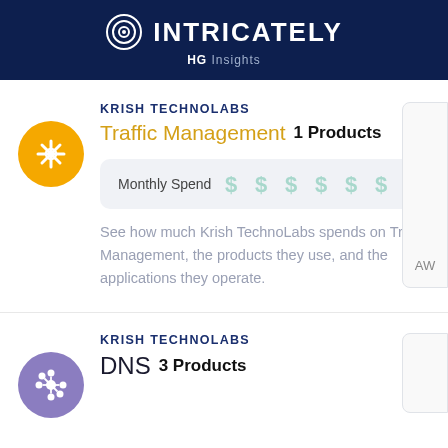INTRICATELY HG Insights
KRISH TECHNOLABS
Traffic Management 1 Products
Monthly Spend
See how much Krish TechnoLabs spends on Traffic Management, the products they use, and the applications they operate.
KRISH TECHNOLABS
DNS 3 Products